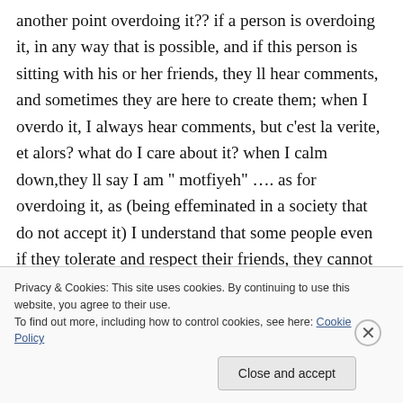another point overdoing it?? if a person is overdoing it, in any way that is possible, and if this person is sitting with his or her friends, they ll hear comments, and sometimes they are here to create them; when I overdo it, I always hear comments, but c'est la verite, et alors? what do I care about it? when I calm down,they ll say I am " motfiyeh" …. as for overdoing it, as (being effeminated in a society that do not accept it) I understand that some people even if they tolerate and respect their friends, they cannot be
Privacy & Cookies: This site uses cookies. By continuing to use this website, you agree to their use.
To find out more, including how to control cookies, see here: Cookie Policy